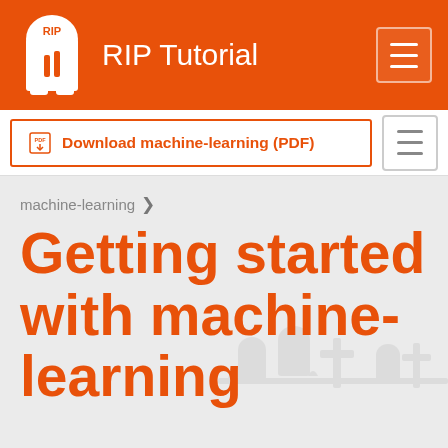RIP Tutorial
Download machine-learning (PDF)
machine-learning
Getting started with machine-learning
Remarks #